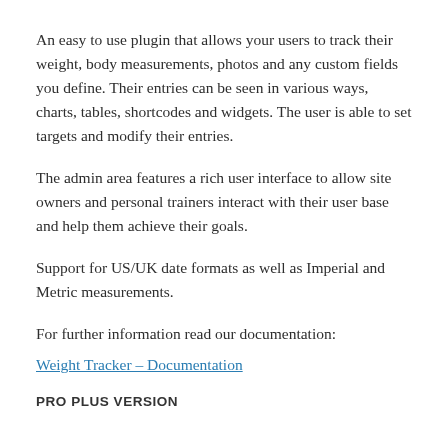An easy to use plugin that allows your users to track their weight, body measurements, photos and any custom fields you define. Their entries can be seen in various ways, charts, tables, shortcodes and widgets. The user is able to set targets and modify their entries.
The admin area features a rich user interface to allow site owners and personal trainers interact with their user base and help them achieve their goals.
Support for US/UK date formats as well as Imperial and Metric measurements.
For further information read our documentation:
Weight Tracker – Documentation
PRO PLUS VERSION